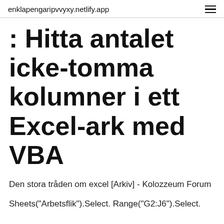enklapengaripvvyxy.netlify.app
: Hitta antalet icke-tomma kolumner i ett Excel-ark med VBA
Den stora tråden om excel [Arkiv] - Kolozzeum Forum
Sheets("Arbetsflik").Select. Range("G2:J6").Select.